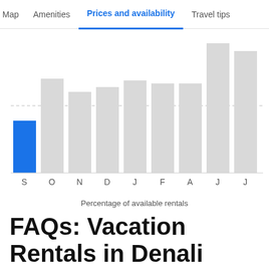Map  Amenities  Prices and availability  Travel tips
[Figure (bar-chart): ]
FAQs: Vacation Rentals in Denali